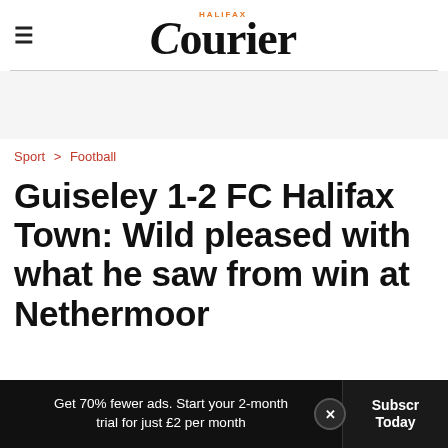Halifax Courier
Sport > Football
Guiseley 1-2 FC Halifax Town: Wild pleased with what he saw from win at Nethermoor
Get 70% fewer ads. Start your 2-month trial for just £2 per month  Subscribe Today